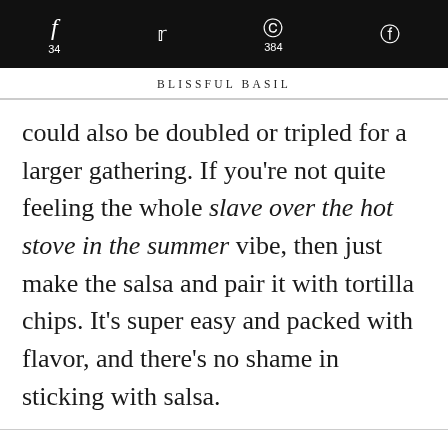f 34   [twitter]   p 384   [reddit]
BLISSFUL BASIL
could also be doubled or tripled for a larger gathering. If you're not quite feeling the whole slave over the hot stove in the summer vibe, then just make the salsa and pair it with tortilla chips. It's super easy and packed with flavor, and there's no shame in sticking with salsa.